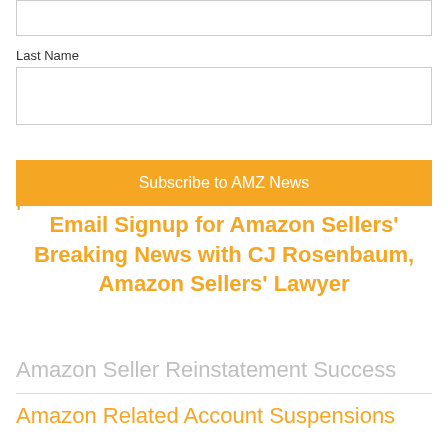Last Name
[input field]
Subscribe to AMZ News
Email Signup for Amazon Sellers' Breaking News with CJ Rosenbaum, Amazon Sellers' Lawyer
Amazon Seller Reinstatement Success
Amazon Related Account Suspensions